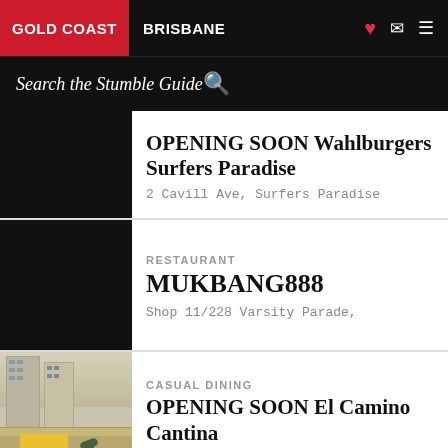GOLD COAST  BRISBANE
Search the Stumble Guide
OPENING SOON Wahlburgers Surfers Paradise
2 Cavill Ave, Surfers Paradise
RESTAURANT
MUKBANG888
Shop 11/228 Varsity Parade,
CASUAL DINING
OPENING SOON El Camino Cantina
2 Cavill Ave, Surfers Paradise